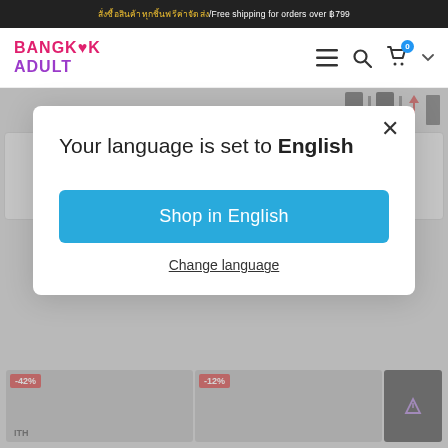สั่งซื้อสินค้าทุกชิ้นฟรีค่าจัดส่ง/Free shipping for orders over ฿799
[Figure (logo): Bangkok Adult store logo with pink and purple text]
[Figure (screenshot): Background page content partially visible behind modal, showing product images and Thai text shop buttons, with -42% and -12% sale badges]
Your language is set to English
Shop in English
Change language